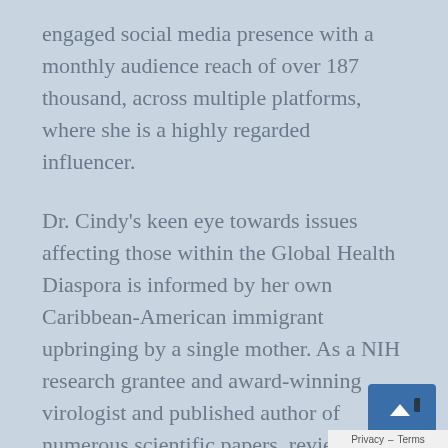engaged social media presence with a monthly audience reach of over 187 thousand, across multiple platforms, where she is a highly regarded influencer.
Dr. Cindy's keen eye towards issues affecting those within the Global Health Diaspora is informed by her own Caribbean-American immigrant upbringing by a single mother. As a NIH research grantee and award-winning virologist and published author of numerous scientific papers, reviews and textbook chapters, Dr. Cindy is also a regular writer on Medium, including the Startup, and has been featured in popular media and publications such as Propublica, USA Today, BBC News, Forbes, Refinery29, Parents, Elite Daily, Parade, Insider,